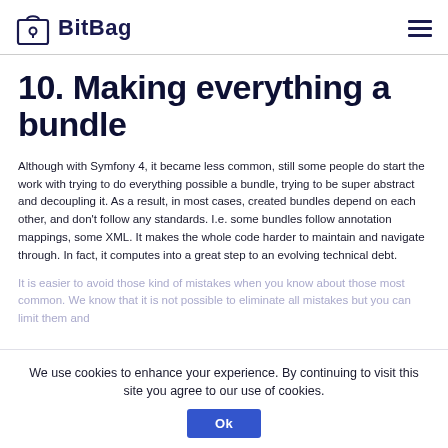BitBag
10. Making everything a bundle
Although with Symfony 4, it became less common, still some people do start the work with trying to do everything possible a bundle, trying to be super abstract and decoupling it. As a result, in most cases, created bundles depend on each other, and don't follow any standards. I.e. some bundles follow annotation mappings, some XML. It makes the whole code harder to maintain and navigate through. In fact, it computes into a great step to an evolving technical debt.
It is easier to avoid those kind of mistakes when you know about those most common. We know that it is not possible to eliminate all mistakes but you can limit them and
We use cookies to enhance your experience. By continuing to visit this site you agree to our use of cookies.